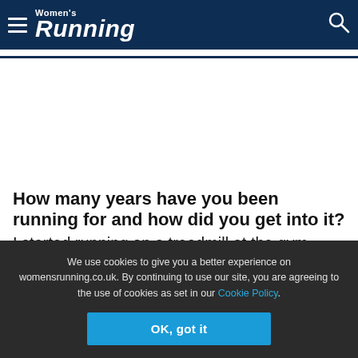Women's Running
How many years have you been running for and how did you get into it?
I started running on a treadmill at the gym when I was 22 (16 years ago). It took me about a year to get the courage to go outside and run along Brighton seafront,
We use cookies to give you a better experience on womensrunning.co.uk. By continuing to use our site, you are agreeing to the use of cookies as set in our Cookie Policy.
OK, got it